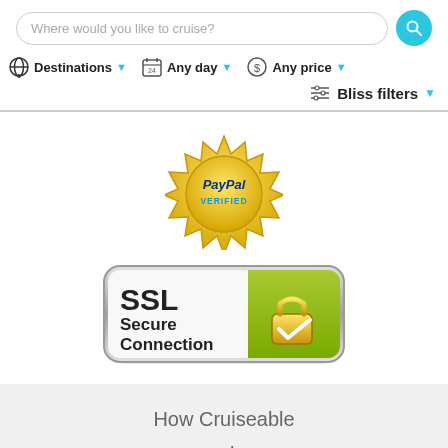[Figure (screenshot): Search bar with placeholder text 'Where would you like to cruise?' and a cyan search button]
[Figure (infographic): Navigation filter row with Destinations, Any day, Any price, and Bliss filters dropdowns]
[Figure (logo): PayPal Verified gold seal badge]
[Figure (logo): SSL Secure Connection badge with padlock icon on green background]
How Cruiseable works
About
Team